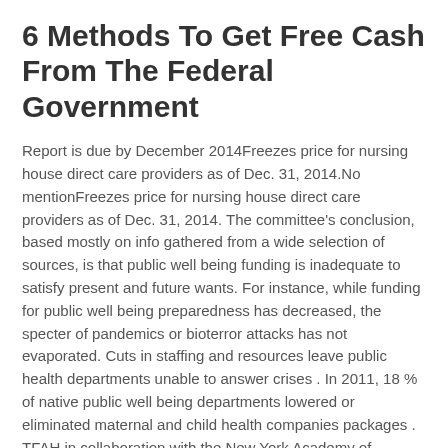6 Methods To Get Free Cash From The Federal Government
Report is due by December 2014Freezes price for nursing house direct care providers as of Dec. 31, 2014.No mentionFreezes price for nursing house direct care providers as of Dec. 31, 2014. The committee's conclusion, based mostly on info gathered from a wide selection of sources, is that public well being funding is inadequate to satisfy present and future wants. For instance, while funding for public well being preparedness has decreased, the specter of pandemics or bioterror attacks has not evaporated. Cuts in staffing and resources leave public health departments unable to answer crises . In 2011, 18 % of native public well being departments lowered or eliminated maternal and child health companies packages . TFAH in collaboration with the New York Academy of Medicine used completely different approaches to estimate the shortfall in public well being funding.